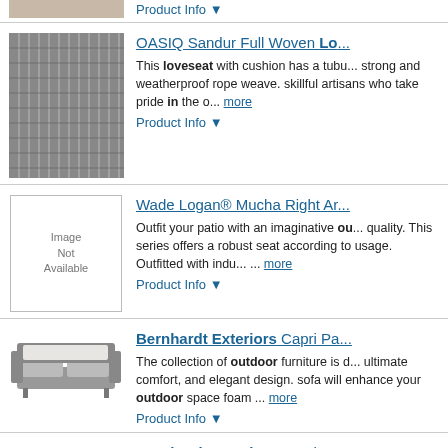[Figure (photo): Partial product image at top, cropped]
Product Info ▼
OASIQ Sandur Full Woven Lo...
This loveseat with cushion has a tubular strong and weatherproof rope weave. skillful artisans who take pride in the o... more
Product Info ▼
Wade Logan® Mucha Right Ar...
Outfit your patio with an imaginative ou... quality. This series offers a robust seat according to usage. Outfitted with indu... ... more
Product Info ▼
Bernhardt Exteriors Capri Pa...
The collection of outdoor furniture is d ultimate comfort, and elegant design. sofa will enhance your outdoor space foam ... more
Product Info ▼
Bernhardt Exteriors Capri Pa...
The collection of outdoor furniture is d ultimate comfort, and elegant design. sofa will enhance your outdoor space foam ... more